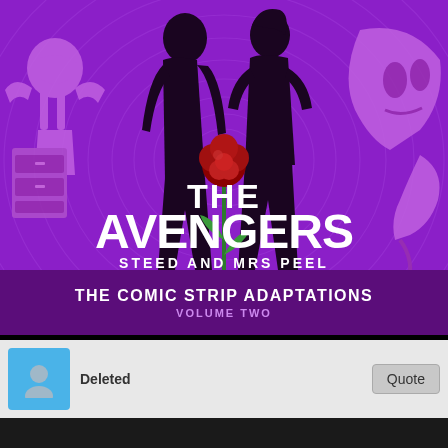[Figure (illustration): Album/audio book cover for 'The Avengers – Steed and Mrs Peel: The Comic Strip Adaptations Volume Two'. Purple background with spiral concentric circles, two black silhouettes of a man and woman standing back to back, a red rose in the center, comic-style decorative characters in purple on sides. Large white bold text reads THE AVENGERS, subtitle STEED AND MRS PEEL. Dark purple banner at bottom reads THE COMIC STRIP ADAPTATIONS / VOLUME TWO. Big Finish / We Love Stories / StudioCanal logos in lower right.]
Deleted
Quote